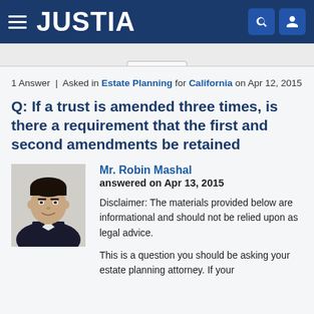JUSTIA
1 Answer | Asked in Estate Planning for California on Apr 12, 2015
Q: If a trust is amended three times, is there a requirement that the first and second amendments be retained
[Figure (photo): Headshot photo of Mr. Robin Mashal, a man in a dark suit, against a light background]
Mr. Robin Mashal
answered on Apr 13, 2015
Disclaimer: The materials provided below are informational and should not be relied upon as legal advice.
This is a question you should be asking your estate planning attorney. If your